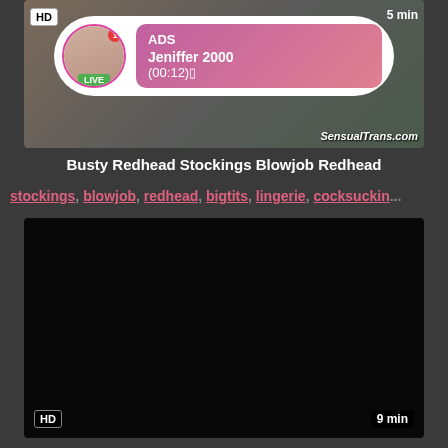[Figure (screenshot): Video thumbnail with ad overlay showing LIVE user 'Jeniffer 2000', HD badge, 5 min duration, SensualTrans.com watermark]
Busty Redhead Stockings Blowjob Redhead
stockings, blowjob, redhead, bigtits, lingerie, cocksuckin...
[Figure (screenshot): Dark/black video thumbnail with HD badge and 9 min duration label]